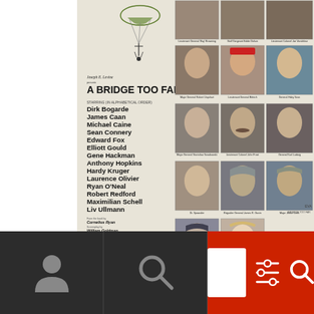[Figure (illustration): Movie poster for 'A Bridge Too Far' (1977). Left panel shows a parachutist silhouette with parachute, presenter credit 'Joseph E. Levine', large bold title 'A BRIDGE TOO FAR', cast list including Dirk Bogarde, James Caan, Michael Caine, Sean Connery, Edward Fox, Elliott Gould, Gene Hackman, Anthony Hopkins, Hardy Kruger, Laurence Olivier, Ryan O'Neal, Robert Redford, Maximilian Schell, Liv Ullmann. Credits include screenplay by Cornelius Ryan, William Goldman, produced by Joseph E. Levine and Richard P. Levine, directed by Richard Attenborough. United Artists logo. Right panel shows a grid of portrait photographs of the actors in their military character roles, with character names beneath each portrait.]
[Figure (illustration): Dark bottom navigation bar with person/user icon on left third, search magnifying glass icon in center third, and red panel on right third containing a different magnifying glass icon and search interface elements.]